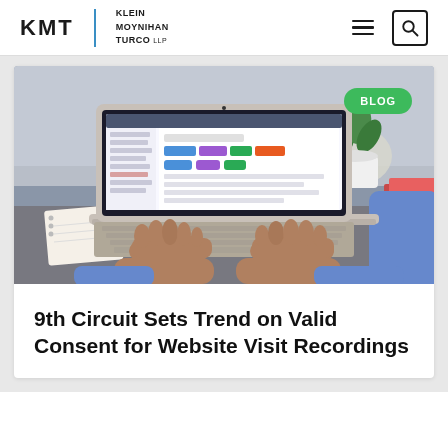KMT | KLEIN MOYNIHAN TURCO LLP
[Figure (photo): Person typing on a laptop computer showing a colorful dashboard/analytics interface, with a white plant pot and books in the background on a desk]
9th Circuit Sets Trend on Valid Consent for Website Visit Recordings